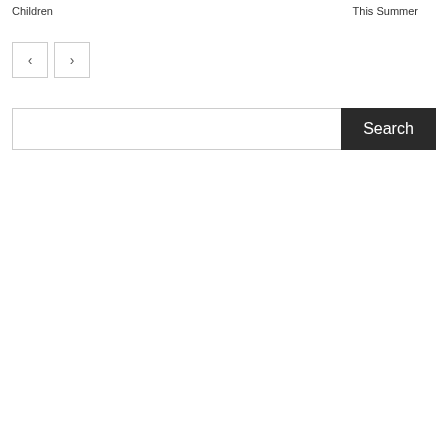Children
This Summer
[Figure (other): Navigation previous and next arrow buttons (left arrow and right arrow in bordered square boxes)]
[Figure (other): Search bar with text input field and dark Search button]